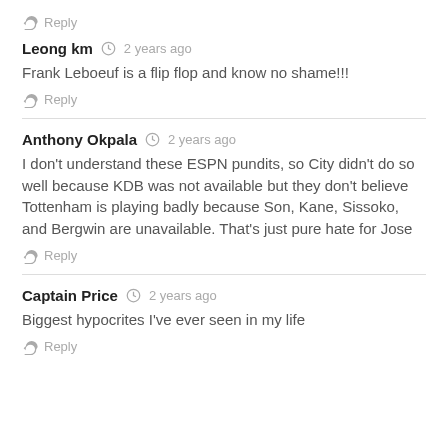Reply
Leong km  2 years ago
Frank Leboeuf is a flip flop and know no shame!!!
Reply
Anthony Okpala  2 years ago
I don't understand these ESPN pundits, so City didn't do so well because KDB was not available but they don't believe Tottenham is playing badly because Son, Kane, Sissoko, and Bergwin are unavailable. That's just pure hate for Jose
Reply
Captain Price  2 years ago
Biggest hypocrites I've ever seen in my life
Reply